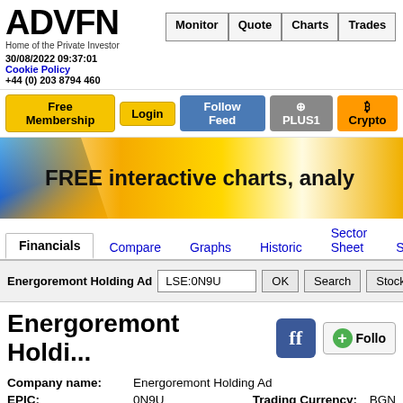ADVFN — Home of the Private Investor | 30/08/2022 09:37:01 | Cookie Policy | +44 (0) 203 8794 460 | Monitor | Quote | Charts | Trades
[Figure (screenshot): ADVFN website header with logo, navigation tabs (Monitor, Quote, Charts, Trades), buttons (Free Membership, Login, Follow Feed, PLUS1, Crypto), and a promotional banner reading 'FREE interactive charts, analy...']
Financials | Compare | Graphs | Historic | Sector Sheet | S...
Energoremont Holding Ad | LSE:0N9U | OK | Search | Stocks...
Energoremont Holdi...
| Field | Value | Field2 | Value2 |
| --- | --- | --- | --- |
| Company name: | Energoremont Holding Ad |  |  |
| EPIC: | 0N9U | Trading Currency: | BGN |
| Market Sector: | SXEL | ISIN: | BG110003... |